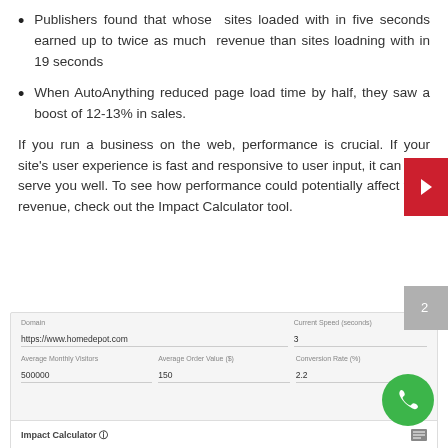Publishers found that whose sites loaded with in five seconds earned up to twice as much revenue than sites loadning with in 19 seconds
When AutoAnything reduced page load time by half, they saw a boost of 12-13% in sales.
If you run a business on the web, performance is crucial. If your site's user experience is fast and responsive to user input, it can only serve you well. To see how performance could potentially affect your revenue, check out the Impact Calculator tool.
[Figure (screenshot): Impact Calculator tool screenshot showing a form with fields: Domain (https://www.homedepot.com), Current Speed (seconds): 3, Average Monthly Visitors: 500000, Average Order Value ($): 150, Conversion Rate (%): 2.2, and an Impact Calculator label at the bottom.]